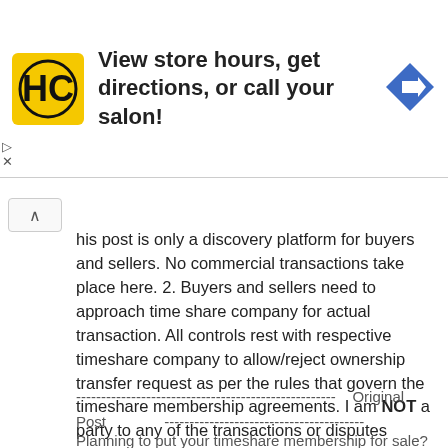[Figure (other): Advertisement banner for a hair salon service showing HC logo, text 'View store hours, get directions, or call your salon!' and a navigation arrow icon]
his post is only a discovery platform for buyers and sellers. No commercial transactions take place here. 2. Buyers and sellers need to approach time share company for actual transaction. All controls rest with respective timeshare company to allow/reject ownership transfer request as per the rules that govern the timeshare membership agreements. I am NOT a party to any of the transactions or disputes arising from use of information shared by buyers/sellers in this post. Please use adequate caution and ensure to comply with rules applicable from time to time.
------------------------------------------------------------ Original Post ----------------------------------------
Planning to put your timeshare membership for sale? Or